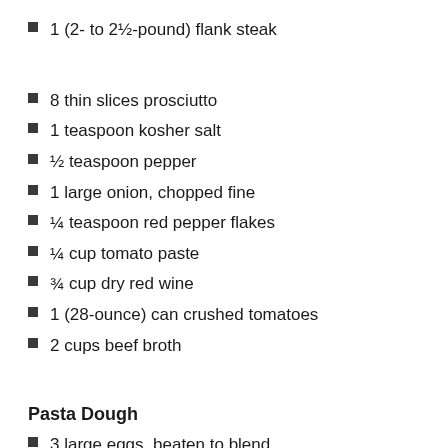1 (2- to 2½-pound) flank steak
8 thin slices prosciutto
1 teaspoon kosher salt
½ teaspoon pepper
1 large onion, chopped fine
¼ teaspoon red pepper flakes
¼ cup tomato paste
¾ cup dry red wine
1 (28-ounce) can crushed tomatoes
2 cups beef broth
Pasta Dough
3 large eggs, beaten to blend
2 cups all-purpose flour